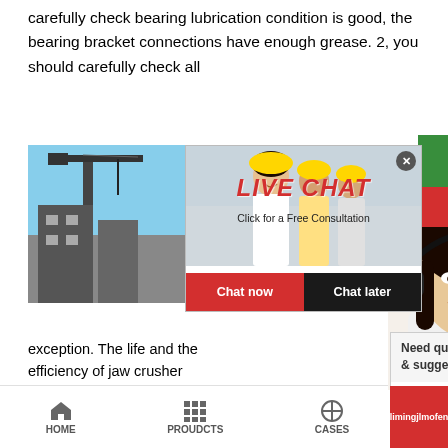carefully check bearing lubrication condition is good, the bearing bracket connections have enough grease. 2, you should carefully check all
[Figure (screenshot): Live Chat popup overlay with workers in hard hats background, LIVE CHAT title in red italic, 'Click for a Free Consultation' subtitle, Chat now and Chat later buttons. Adjacent: green Read More banner, red 24Hrs Online banner, woman with headset customer service representative photo.]
exception. The life and the efficiency of jaw crusher decrease without being examined at fixed period. maintenance and examination terminal is necessary normal operation for jaw crusher. The
[Figure (screenshot): Need questions & suggestion? sidebar widget with Chat Now button, Enquiry link, and limingjlmofen link]
HOME   PROUDCTS   CASES   limingjlmofen